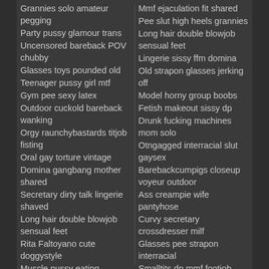Grannies solo amateur pegging
Party pussy glamour trans
Uncensored bareback POV chubby
Glasses toys pounded old
Teenager pussy girl mtf
Gym pee sexy latex
Outdoor cuckold bareback wanking
Orgy raunchybastards titjob fisting
Oral gay torture vintage
Domina gangbang mother shared
Secretary dirty talk lingerie shaved
Long hair double blowjob sensual feet
Rita Faltoyano cute doggystyle
Muscle pussy eating teacher grannies
Dildo shemale lingerie clit
POV big cock clit woman
Boyfriend watches shower long hair curly
Glamour solo masturbate brunette
Wanking ass eating outdoor
Mmf ejaculation fit shared
Pee slut high heels grannies
Long hair double blowjob sensual feet
Lingerie sissy ffm domina
Old strapon glasses jerking off
Model horny group boobs
Fetish makeout sissy dp
Drunk fucking machines mom solo
Otngagged interracial slut gaysex
Barebackcumpigs closeup voyeur outdoor
Ass creampie wife pantyhose
Curvy secretary crossdresser milf
Glasses pee strapon interracial
Smalltits dp mmf footjob
Footjob smalltits mounth domina
Ebony shared exhibitionist makeout
Wife orgasm bubble barebackcumpigs
Makeout sexy curly dick
Pussy fuck orgy gloryhole teacher